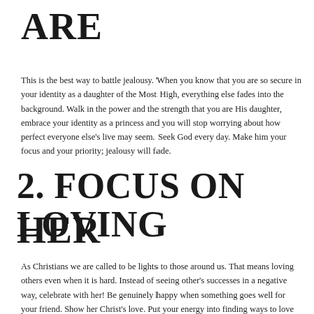ARE
This is the best way to battle jealousy. When you know that you are so secure in your identity as a daughter of the Most High, everything else fades into the background. Walk in the power and the strength that you are His daughter, embrace your identity as a princess and you will stop worrying about how perfect everyone else's live may seem. Seek God every day. Make him your focus and your priority; jealousy will fade.
2. FOCUS ON LOVING HER
As Christians we are called to be lights to those around us. That means loving others even when it is hard. Instead of seeing other's successes in a negative way, celebrate with her! Be genuinely happy when something goes well for your friend. Show her Christ's love. Put your energy into finding ways to love her rather than tear her down.